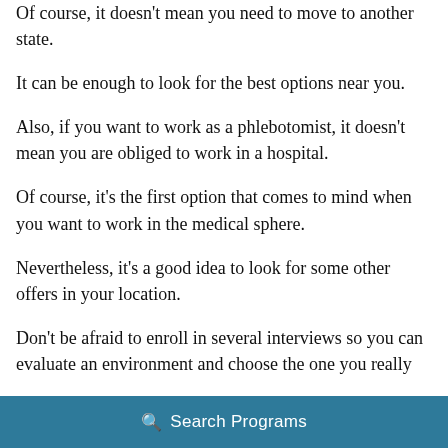Of course, it doesn't mean you need to move to another state.
It can be enough to look for the best options near you.
Also, if you want to work as a phlebotomist, it doesn't mean you are obliged to work in a hospital.
Of course, it's the first option that comes to mind when you want to work in the medical sphere.
Nevertheless, it's a good idea to look for some other offers in your location.
Don't be afraid to enroll in several interviews so you can evaluate an environment and choose the one you really
🔍 Search Programs